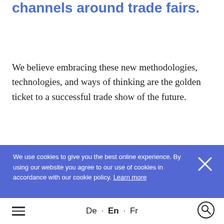channels around trade fairs.
We believe embracing these new methodologies, technologies, and ways of thinking are the golden ticket to a successful trade show of the future.
We use cookies to give you the best online experience. By using our website you agree to our use of cookies in accordance with our cookie policy. Learn more
De · En · Fr